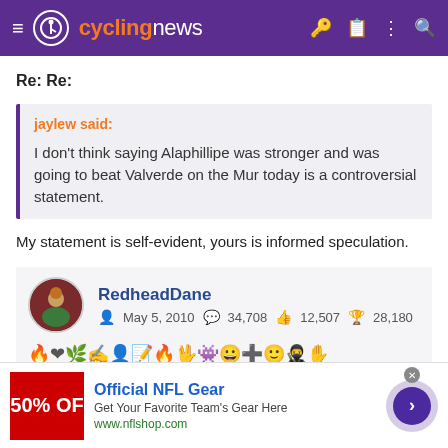cyclingnews
Re: Re:
jaylew said:
I don't think saying Alaphillipe was stronger and was going to beat Valverde on the Mur today is a controversial statement.
My statement is self-evident, yours is informed speculation.
RedheadDane  May 5, 2010  34,708  12,507  28,180
[Figure (screenshot): Advertisement banner: Official NFL Gear - Get Your Favorite Team's Gear Here - www.nflshop.com, with 50% OFF red image]